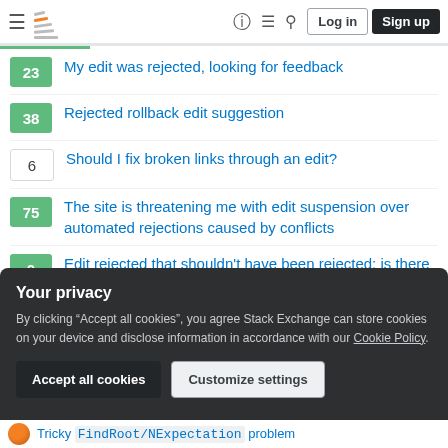Stack Exchange navigation header with Log in and Sign up buttons
23  My edit was rejected, looking for feedback
38  Rejected rollback edit suggestion
6  Should I fix broken links through an edit?
75  The site is threatening me with edit suspension over automated rejections caused by conflicts
0  Edit rejected that shouldn't have been rejected: is there a way to make it disappear from my log?
2  I edited an answer, adding what seems to me was necessary information, but got rejected
Your privacy
By clicking “Accept all cookies”, you agree Stack Exchange can store cookies on your device and disclose information in accordance with our Cookie Policy.
Accept all cookies  Customize settings
Tricky `FindRoot/NExpectation` problem